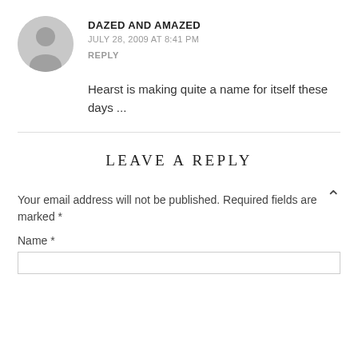DAZED AND AMAZED
JULY 28, 2009 AT 8:41 PM
REPLY
Hearst is making quite a name for itself these days ...
LEAVE A REPLY
Your email address will not be published. Required fields are marked *
Name *